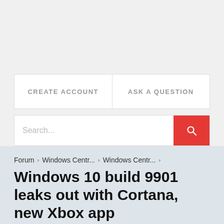[Figure (screenshot): Top gray empty area of a web forum page]
CREATE ACCOUNT
ASK A QUESTION
Search...
Forum › Windows Centr... › Windows Centr... ›
Windows 10 build 9901 leaks out with Cortana, new Xbox app
We are delighted to announce that our forums are